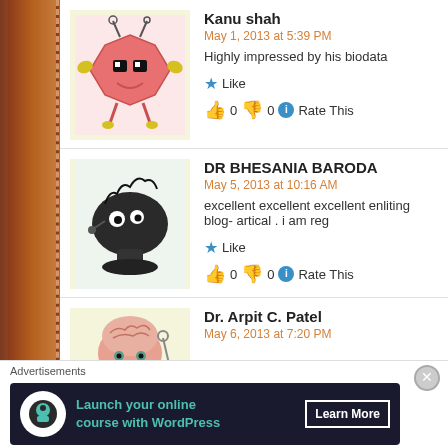[Figure (illustration): Cartoon alien monster avatar for Kanu shah]
Kanu shah
May 1, 2013 at 5:39 PM
Highly impressed by his biodata
Like
👍 0 👎 0 ℹ Rate This
[Figure (illustration): Cartoon mushroom cloud avatar for DR BHESANIA BARODA]
DR BHESANIA BARODA
May 5, 2013 at 10:16 AM
excellent excellent excellent enliting blog- artical . i am reg
Like
👍 0 👎 0 ℹ Rate This
[Figure (illustration): Brain cartoon avatar for Dr. Arpit C. Patel]
Dr. Arpit C. Patel
May 6, 2013 at 7:20 PM
Advertisements
[Figure (screenshot): Advertisement banner: Launch your online course with WordPress - Learn More]